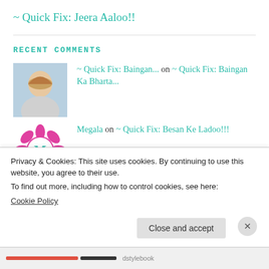~ Quick Fix: Jeera Aaloo!!
RECENT COMMENTS
~ Quick Fix: Baingan... on ~ Quick Fix: Baingan Ka Bharta...
Megala on ~ Quick Fix: Besan Ke Ladoo!!!
~ Around Houston: An... on ~ Around Houston: Fredericksbu...
dstylebook on ~ Quick Fix: Mix Veg
Privacy & Cookies: This site uses cookies. By continuing to use this website, you agree to their use.
To find out more, including how to control cookies, see here: Cookie Policy
Close and accept